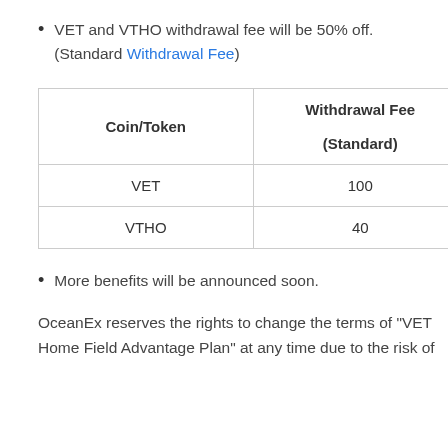VET and VTHO withdrawal fee will be 50% off. (Standard Withdrawal Fee)
| Coin/Token | Withdrawal Fee
(Standard) |
| --- | --- |
| VET | 100 |
| VTHO | 40 |
More benefits will be announced soon.
OceanEx reserves the rights to change the terms of "VET Home Field Advantage Plan" at any time due to the risk of